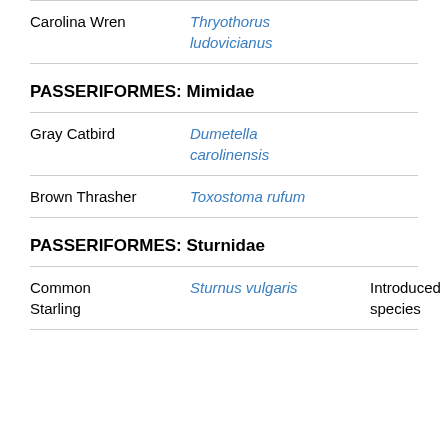| Common Name | Scientific Name | Notes |
| --- | --- | --- |
| Carolina Wren | Thryothorus ludovicianus |  |
| PASSERIFORMES: Mimidae |  |  |
| Gray Catbird | Dumetella carolinensis |  |
| Brown Thrasher | Toxostoma rufum |  |
| PASSERIFORMES: Sturnidae |  |  |
| Common Starling | Sturnus vulgaris | Introduced species |